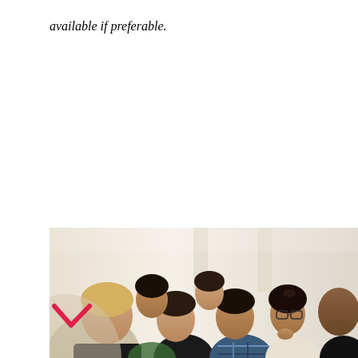available if preferable.
[Figure (photo): A group of people seated in rows, listening attentively at what appears to be a seminar or classroom session. Multiple people of diverse backgrounds are visible in profile and three-quarter view, with some taking notes.]